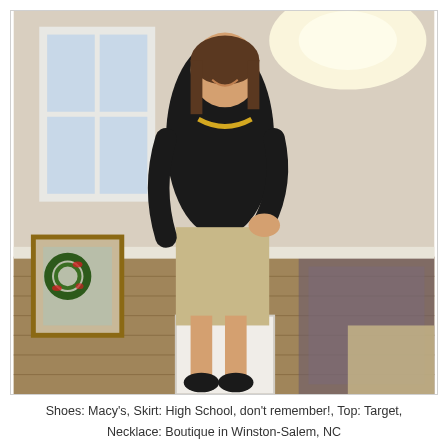[Figure (photo): A woman standing indoors, smiling at the camera. She is wearing a black long-sleeve top, a tan/khaki skirt, a gold beaded necklace, and black heels. The room has a white window, a mirror with a Christmas wreath reflection, a patterned area rug, hardwood floors, and light-colored walls. The image appears to be rotated 90 degrees.]
Shoes: Macy's, Skirt: High School, don't remember!, Top: Target, Necklace: Boutique in Winston-Salem, NC